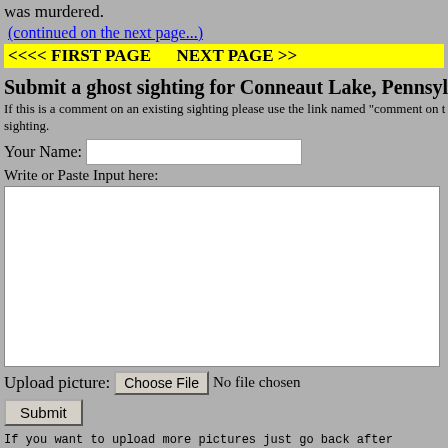was murdered.
(continued on the next page...)
<<<< FIRST PAGE        NEXT PAGE >>
Submit a ghost sighting for Conneaut Lake, Pennsylvania
If this is a comment on an existing sighting please use the link named "comment on this sighting.
Your Name: [input field]
Write or Paste Input here:
[Figure (screenshot): Large white textarea input box for submitting ghost sighting text]
Upload picture: Choose File  No file chosen
Submit
If you want to upload more pictures just go back after you submit and keep submitting as many pics as you want.